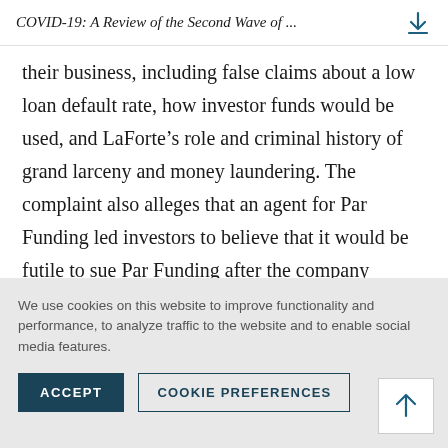COVID-19: A Review of the Second Wave of ...
their business, including false claims about a low loan default rate, how investor funds would be used, and LaForte’s role and criminal history of grand larceny and money laundering. The complaint also alleges that an agent for Par Funding led investors to believe that it would be futile to sue Par Funding after the company defaulted on promissory notes because of the financial impact of COVID-19 on Par Funding’s business, which led investors instead to agree on restructuring the
We use cookies on this website to improve functionality and performance, to analyze traffic to the website and to enable social media features.